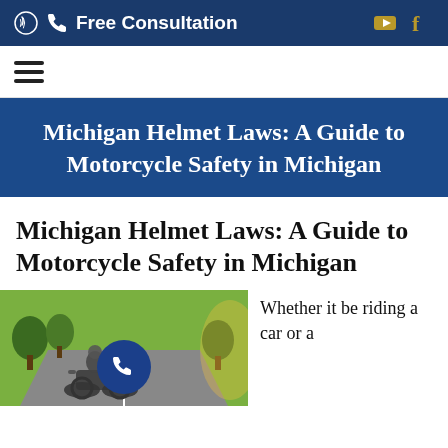Free Consultation
Michigan Helmet Laws: A Guide to Motorcycle Safety in Michigan
Michigan Helmet Laws: A Guide to Motorcycle Safety in Michigan
[Figure (photo): Motorcycle rider on a road with trees in background, with a blue phone call button overlay]
Whether it be riding a car or a